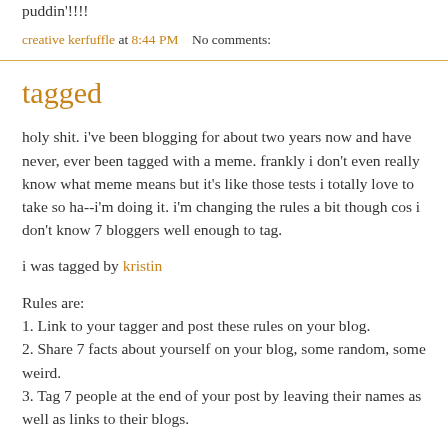puddin'!!!!
creative kerfuffle at 8:44 PM    No comments:
tagged
holy shit. i've been blogging for about two years now and have never, ever been tagged with a meme. frankly i don't even really know what meme means but it's like those tests i totally love to take so ha--i'm doing it. i'm changing the rules a bit though cos i don't know 7 bloggers well enough to tag.
i was tagged by kristin
Rules are:
1. Link to your tagger and post these rules on your blog.
2. Share 7 facts about yourself on your blog, some random, some weird.
3. Tag 7 people at the end of your post by leaving their names as well as links to their blogs.